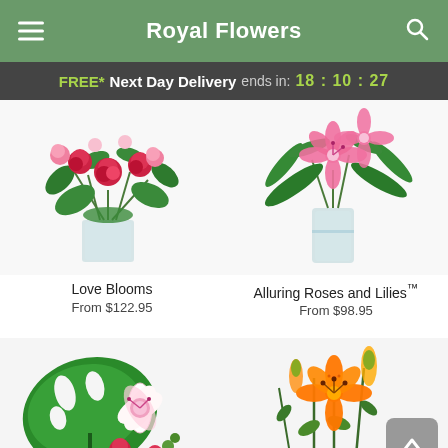Royal Flowers
FREE* Next Day Delivery ends in: 18:10:27
[Figure (photo): Flower arrangement - Love Blooms: red roses, pink carnations and greenery in a clear glass vase]
Love Blooms
From $122.95
[Figure (photo): Flower arrangement - Alluring Roses and Lilies: pink stargazer lilies with fern greenery in a tall clear cylinder vase]
Alluring Roses and Lilies™
From $98.95
[Figure (photo): Flower arrangement with monstera leaf, pink stargazer lily, red roses and greenery]
[Figure (photo): Orange lily flower arrangement with buds and green foliage]